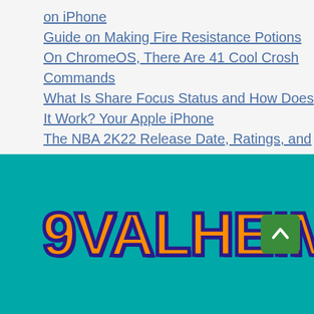on iPhone
Guide on Making Fire Resistance Potions
On ChromeOS, There Are 41 Cool Crosh Commands
What Is Share Focus Status and How Does It Work? Your Apple iPhone
The NBA 2K22 Release Date, Ratings, and Every Features You Want To Know
[Figure (logo): 9VALHEIM logo in orange with dark blue outline on teal background, with a green scroll-to-top button]